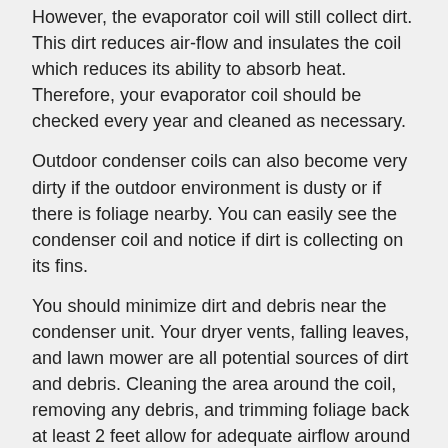However, the evaporator coil will still collect dirt. This dirt reduces air-flow and insulates the coil which reduces its ability to absorb heat. Therefore, your evaporator coil should be checked every year and cleaned as necessary.
Outdoor condenser coils can also become very dirty if the outdoor environment is dusty or if there is foliage nearby. You can easily see the condenser coil and notice if dirt is collecting on its fins.
You should minimize dirt and debris near the condenser unit. Your dryer vents, falling leaves, and lawn mower are all potential sources of dirt and debris. Cleaning the area around the coil, removing any debris, and trimming foliage back at least 2 feet allow for adequate airflow around the condenser.
Coil Fins
The aluminum fins on evaporator and condenser coils are easily bent and can block air-flow through the coil. Air conditioning wholesalers sell a tool called a "fin comb" that will comb these fins back into nearly original condition.
Sealing and Insulating Air Ducts